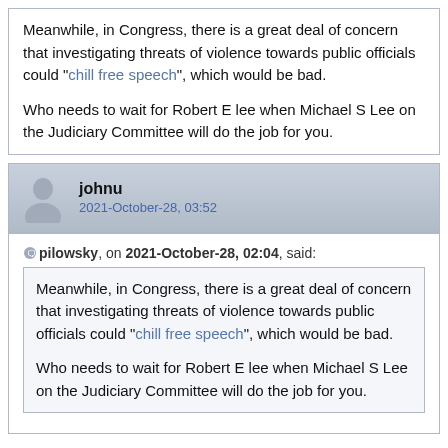Meanwhile, in Congress, there is a great deal of concern that investigating threats of violence towards public officials could "chill free speech", which would be bad.

Who needs to wait for Robert E lee when Michael S Lee on the Judiciary Committee will do the job for you.
johnu
2021-October-28, 03:52
pilowsky, on 2021-October-28, 02:04, said:
Meanwhile, in Congress, there is a great deal of concern that investigating threats of violence towards public officials could "chill free speech", which would be bad.

Who needs to wait for Robert E lee when Michael S Lee on the Judiciary Committee will do the job for you.
The only progress that can be made in the US is when the